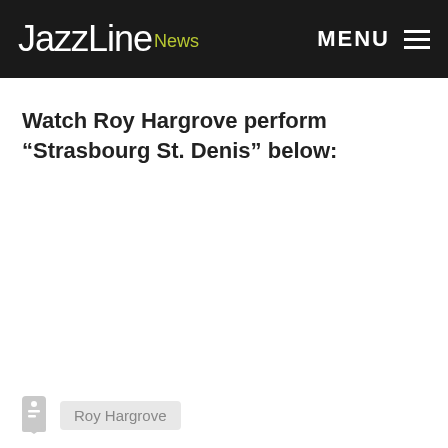JazzLine News  MENU
Watch Roy Hargrove perform “Strasbourg St. Denis” below:
Roy Hargrove